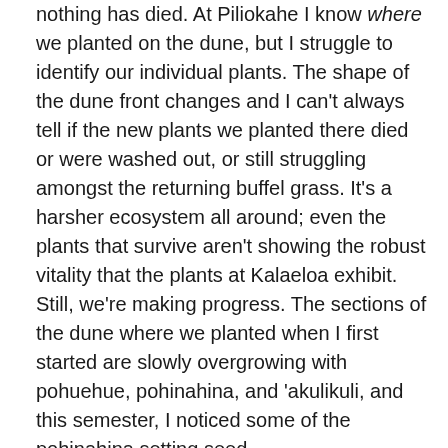nothing has died. At Piliokahe I know where we planted on the dune, but I struggle to identify our individual plants. The shape of the dune front changes and I can't always tell if the new plants we planted there died or were washed out, or still struggling amongst the returning buffel grass. It's a harsher ecosystem all around; even the plants that survive aren't showing the robust vitality that the plants at Kalaeloa exhibit. Still, we're making progress. The sections of the dune where we planted when I first started are slowly overgrowing with pohuehue, pohinahina, and 'akulikuli, and this semester, I noticed some of the pohinahina setting seed.
For these reasons, the restoration at Kalaeloa feels more successful than at Piliokahe, although the struggle at Piliokahe resonates more strongly with me. It's easy for people to understand the value of preserving what